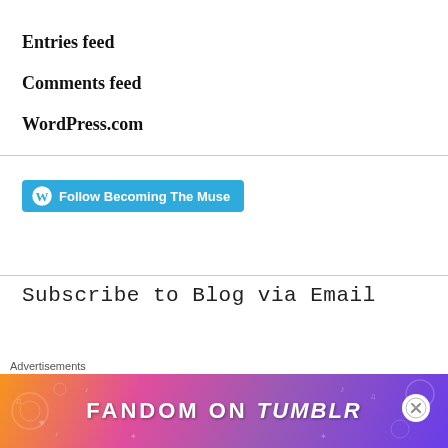Entries feed
Comments feed
WordPress.com
[Figure (other): Blue button with WordPress icon reading 'Follow Becoming The Muse']
Subscribe to Blog via Email
Advertisements
[Figure (other): Fandom on Tumblr colorful advertisement banner with orange, pink, and purple gradient background and white text]